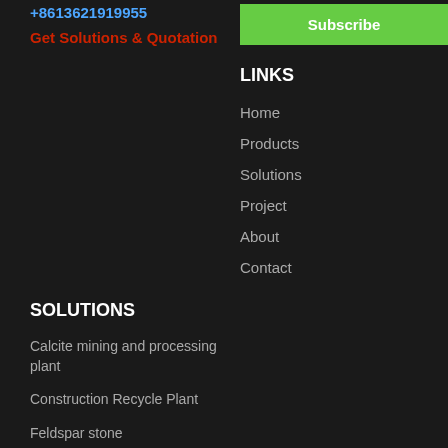+8613621919955
Get Solutions & Quotation
Subscribe
LINKS
Home
Products
Solutions
Project
About
Contact
SOLUTIONS
Calcite mining and processing plant
Construction Recycle Plant
Feldspar stone